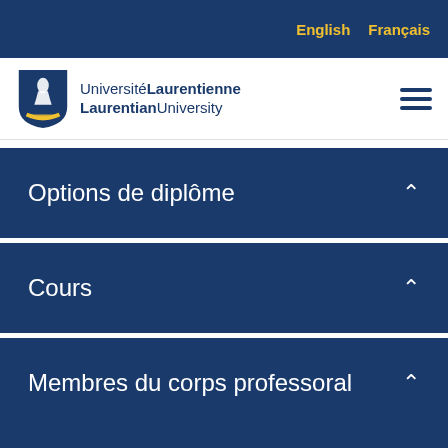English  Français
[Figure (logo): Laurentian University / Université Laurentienne shield logo with text]
Options de diplôme
Cours
Membres du corps professoral